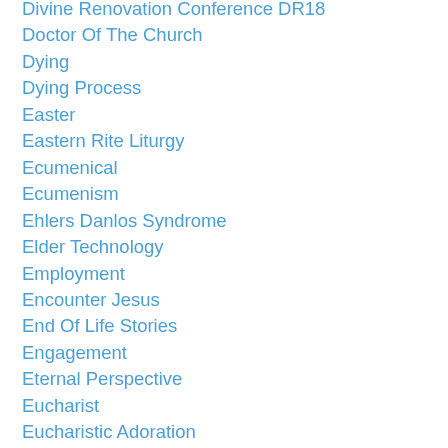Divine Renovation Conference DR18
Doctor Of The Church
Dying
Dying Process
Easter
Eastern Rite Liturgy
Ecumenical
Ecumenism
Ehlers Danlos Syndrome
Elder Technology
Employment
Encounter Jesus
End Of Life Stories
Engagement
Eternal Perspective
Eucharist
Eucharistic Adoration
Evangelii Gaudium
Evangelisation
Ewtn
Exodus 90